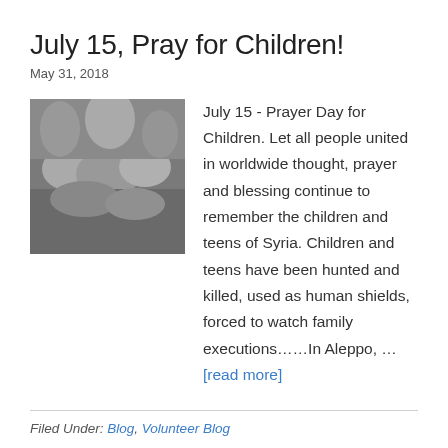July 15, Pray for Children!
May 31, 2018
[Figure (photo): Black and white photo of children and a woman lying together on bedding, appearing to be refugees or displaced persons]
July 15 - Prayer Day for Children. Let all people united in worldwide thought, prayer and blessing continue to remember the children and teens of Syria. Children and teens have been hunted and killed, used as human shields, forced to watch family executions……In Aleppo, … [read more]
Filed Under: Blog, Volunteer Blog